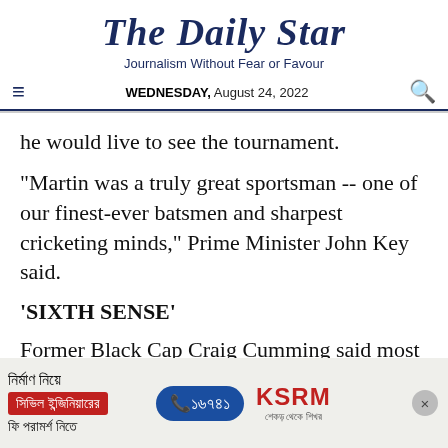The Daily Star
Journalism Without Fear or Favour
WEDNESDAY, August 24, 2022
he would live to see the tournament.
"Martin was a truly great sportsman -- one of our finest-ever batsmen and sharpest cricketing minds," Prime Minister John Key said.
'SIXTH SENSE'
Former Black Cap Craig Cumming said most experts agreed Crowe's career statistics would
[Figure (other): Advertisement banner for KSRM with Bengali text, red box, phone number 16741, and KSRM logo]